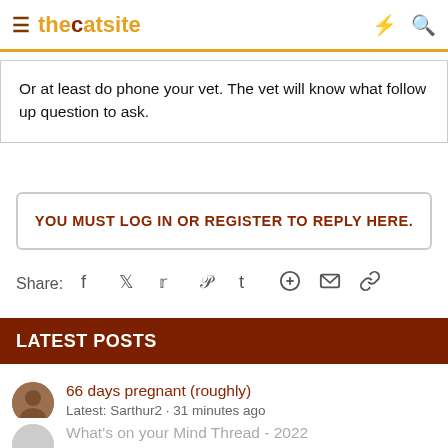thecatsite
Or at least do phone your vet. The vet will know what follow up question to ask.
YOU MUST LOG IN OR REGISTER TO REPLY HERE.
Share:
LATEST POSTS
66 days pregnant (roughly)
Latest: Sarthur2 · 31 minutes ago
Pregnant Cats and Kitten Care
What's on your Mind Thread - 2022